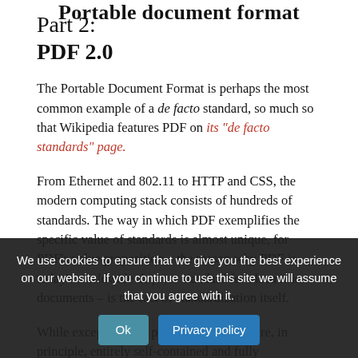Portable document format
Part 2:
PDF 2.0
The Portable Document Format is perhaps the most common example of a de facto standard, so much so that Wikipedia features PDF on its "de facto standards" page.
From Ethernet and 802.11 to HTTP and CSS, the modern computing stack consists of hundreds of standards. The way in which PDF exemplifies the specific value of standards is almost unique, for PDF’s value proposition – the reason why PDF is today’s worldwide de facto standard for electronic documents – is the fact of standardization itself.
While exceptions are possible, PDF files are, in principle, entirely self-contained and fully interoperable, working equally well with standards-conforming PDF software from every vendor. For that matter, this also means that a standards-conforming PDF from any source will work with any PDF software.
This core capability – the fact that PDF technology makes it possible for different applications to produce the same results – is the key to the technology’s success.